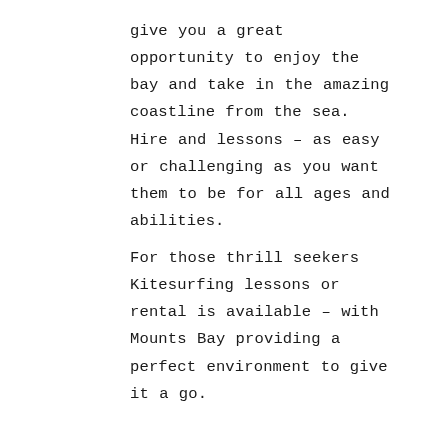give you a great opportunity to enjoy the bay and take in the amazing coastline from the sea. Hire and lessons – as easy or challenging as you want them to be for all ages and abilities. For those thrill seekers Kitesurfing lessons or rental is available – with Mounts Bay providing a perfect environment to give it a go.

And afterwards a coffee and warm at the beachside cafe

www.thehoxtonspecial.com

On the golden sands of Sennen Beach there cannot be any better place to try your hand at surfing. The award winning Sennen Surfing